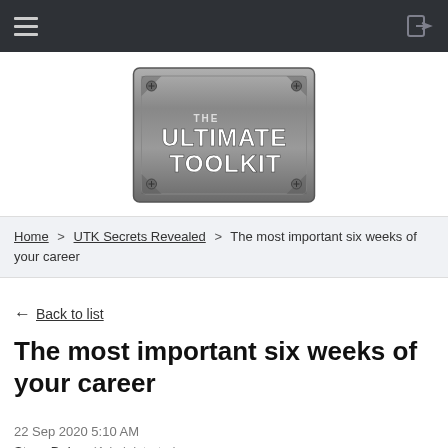Navigation bar with hamburger menu and login icon
[Figure (logo): The Ultimate Toolkit logo — a metallic silver badge/plate with screws in corners, reading 'THE ULTIMATE TOOLKIT' in bold white text]
Home > UTK Secrets Revealed > The most important six weeks of your career
← Back to list
The most important six weeks of your career
22 Sep 2020 5:10 AM
Steve DeLay (Administrator)